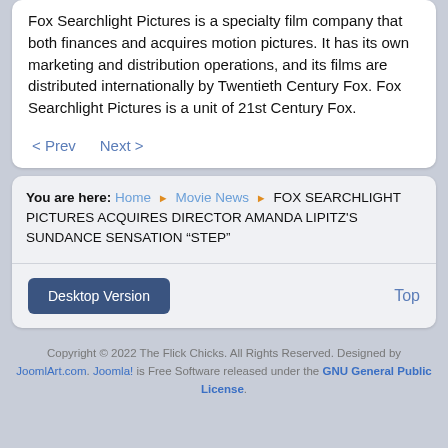Fox Searchlight Pictures is a specialty film company that both finances and acquires motion pictures. It has its own marketing and distribution operations, and its films are distributed internationally by Twentieth Century Fox. Fox Searchlight Pictures is a unit of 21st Century Fox.
< Prev
Next >
You are here: Home > Movie News > FOX SEARCHLIGHT PICTURES ACQUIRES DIRECTOR AMANDA LIPITZ'S SUNDANCE SENSATION “STEP”
Desktop Version
Top
Copyright © 2022 The Flick Chicks. All Rights Reserved. Designed by JoomlArt.com. Joomla! is Free Software released under the GNU General Public License.